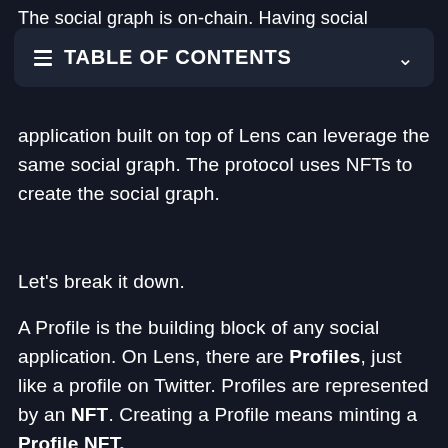The social graph is on-chain. Having social
TABLE OF CONTENTS
application built on top of Lens can leverage the same social graph. The protocol uses NFTs to create the social graph.
Let's break it down.
A Profile is the building block of any social application. On Lens, there are Profiles, just like a profile on Twitter. Profiles are represented by an NFT. Creating a Profile means minting a Profile NFT.